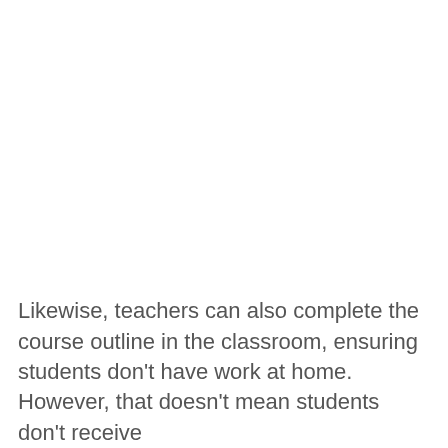Likewise, teachers can also complete the course outline in the classroom, ensuring students don't have work at home. However, that doesn't mean students don't receive